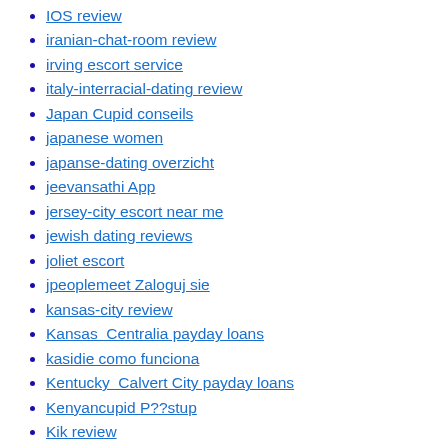IOS review
iranian-chat-room review
irving escort service
italy-interracial-dating review
Japan Cupid conseils
japanese women
japanse-dating overzicht
jeevansathi App
jersey-city escort near me
jewish dating reviews
joliet escort
jpeoplemeet Zaloguj sie
kansas-city review
Kansas  Centralia payday loans
kasidie como funciona
Kentucky  Calvert City payday loans
Kenyancupid P??stup
Kik review
Kinkyads review
knoxville escort near me
korean mail order brides
koreancupid it review
la USA reviews
Ladda ner Dll
lakewood review